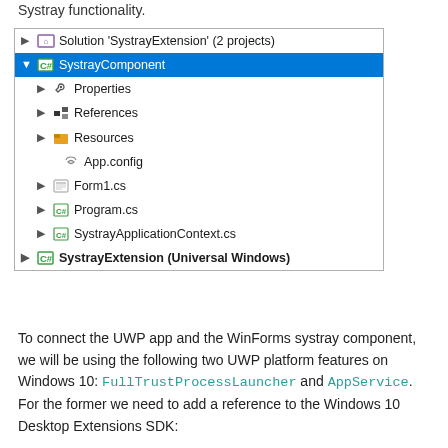Systray functionality.
[Figure (screenshot): Visual Studio Solution Explorer showing 'SystrayExtension' solution with 2 projects: SystrayComponent (expanded, selected in blue) with children Properties, References, Resources, App.config, Form1.cs, Program.cs, SystrayApplicationContext.cs; and SystrayExtension (Universal Windows) project.]
To connect the UWP app and the WinForms systray component, we will be using the following two UWP platform features on Windows 10: FullTrustProcessLauncher and AppService. For the former we need to add a reference to the Windows 10 Desktop Extensions SDK: